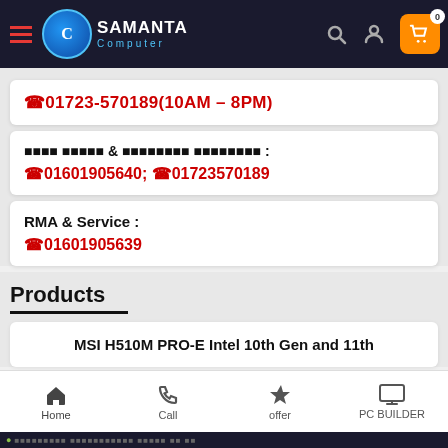Samanta Computer — navigation bar with logo, search, user, cart (0)
☎01723-570189(10AM – 8PM)
বিক্রয় শাখা & কর্পোরেট বিভাগ : ☎01601905640; ☎01723570189
RMA & Service : ☎01601905639
Products
MSI H510M PRO-E Intel 10th Gen and 11th
Home | Call | offer | PC BUILDER